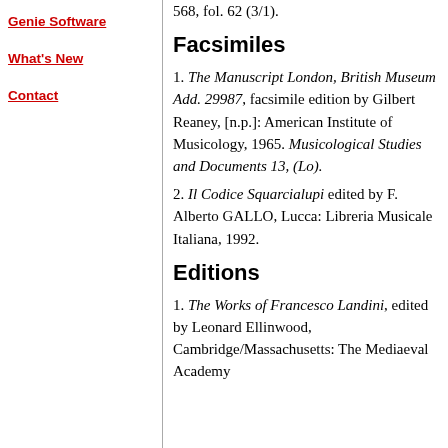Genie Software
What's New
Contact
568, fol. 62 (3/1).
Facsimiles
1. The Manuscript London, British Museum Add. 29987, facsimile edition by Gilbert Reaney, [n.p.]: American Institute of Musicology, 1965. Musicological Studies and Documents 13, (Lo).
2. Il Codice Squarcialupi edited by F. Alberto GALLO, Lucca: Libreria Musicale Italiana, 1992.
Editions
1. The Works of Francesco Landini, edited by Leonard Ellinwood, Cambridge/Massachusetts: The Mediaeval Academy